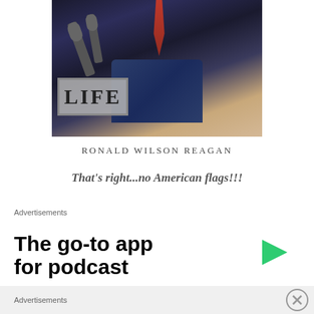[Figure (photo): A man in a dark suit at a podium with microphones, with the LIFE magazine logo overlaid in the bottom left corner of the image.]
RONALD WILSON REAGAN
That's right...no American flags!!!
Advertisements
The go-to app
for podcast
Advertisements